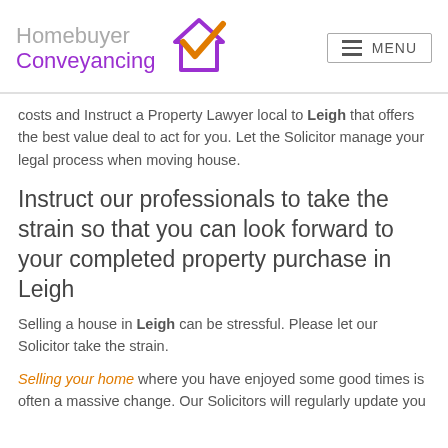[Figure (logo): Homebuyer Conveyancing logo with house and checkmark icon in purple and orange]
costs and Instruct a Property Lawyer local to Leigh that offers the best value deal to act for you. Let the Solicitor manage your legal process when moving house.
Instruct our professionals to take the strain so that you can look forward to your completed property purchase in Leigh
Selling a house in Leigh can be stressful. Please let our Solicitor take the strain.
Selling your home where you have enjoyed some good times is often a massive change. Our Solicitors will regularly update you